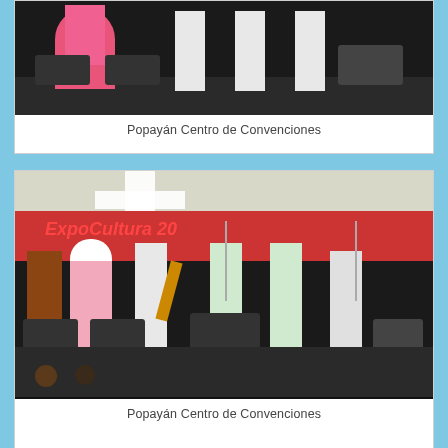[Figure (photo): Performers on stage at Popayán Centro de Convenciones. Dancers in colorful traditional costumes (pink floral dress) and musicians in white outfits on a dark stage with speakers.]
Popayán Centro de Convenciones
[Figure (photo): Musical performers on an outdoor stage at ExpoCultura 20 event at Popayán Centro de Convenciones. Performers in traditional costumes with instruments including violin and brass, with a red banner backdrop reading ExpoCultura and a white cross visible in the background.]
Popayán Centro de Convenciones